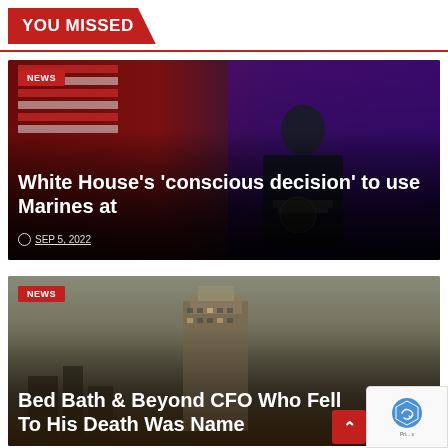YOU MISSED
[Figure (photo): Photo of a man in a dark suit speaking at a podium with a presidential seal, in front of a dark red and purple lit backdrop with an American flag visible on the left]
White House's 'conscious decision' to use Marines at
SEP 5, 2022
[Figure (photo): Aerial nighttime photo of a city skyline with a prominent tall building in the center, city lights visible in the background against a hazy dusky sky]
Bed Bath & Beyond CFO Who Fell To His Death Was Name